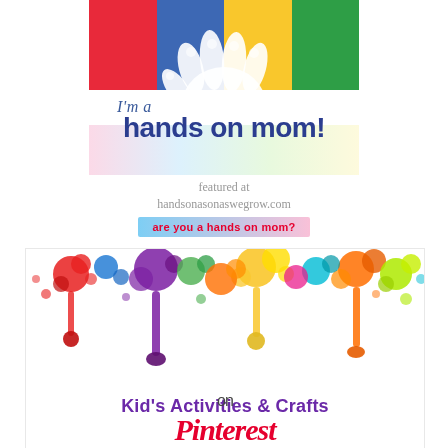[Figure (logo): Hands on Mom badge with colorful striped background, white handprint, 'I'm a hands on mom!' text, 'featured at handsonasonaswegrow.com', and 'are you a hands on mom?' banner]
[Figure (illustration): Kid's Activities & Crafts on Pinterest banner with colorful paint splatter at top and text below]